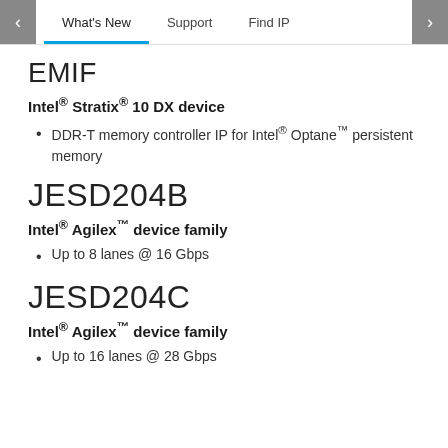What's New | Support | Find IP
EMIF
Intel® Stratix® 10 DX device
DDR-T memory controller IP for Intel® Optane™ persistent memory
JESD204B
Intel® Agilex™ device family
Up to 8 lanes @ 16 Gbps
JESD204C
Intel® Agilex™ device family
Up to 16 lanes @ 28 Gbps